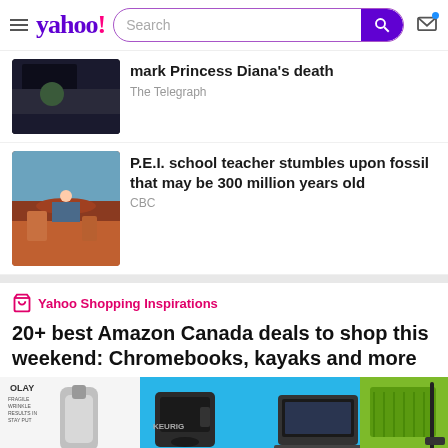Yahoo! Search
mark Princess Diana's death
The Telegraph
P.E.I. school teacher stumbles upon fossil that may be 300 million years old
CBC
Yahoo Shopping Inspirations
20+ best Amazon Canada deals to shop this weekend: Chromebooks, kayaks and more
[Figure (photo): Product images: Olay skincare, Keurig coffee maker, laptop (Acer), kayak/fishing gear on teal background]